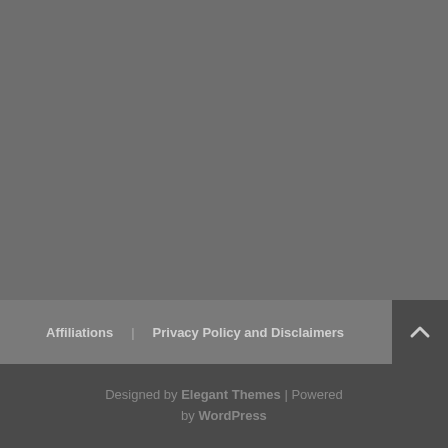[Figure (other): Large gray rectangular background area filling the upper portion of the page]
Affiliations | Privacy Policy and Disclaimers
Designed by Elegant Themes | Powered by WordPress